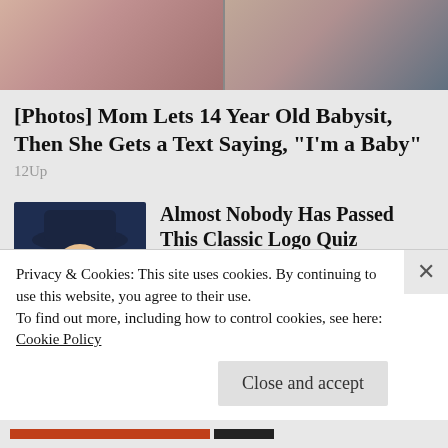[Figure (photo): Two cropped portrait photos side by side, showing partial faces/hair of two people]
[Photos] Mom Lets 14 Year Old Babysit, Then She Gets a Text Saying, "I'm a Baby"
12Up
[Figure (photo): Illustration of a Quaker Oats-style man with white wig and colonial hat]
Almost Nobody Has Passed This Classic Logo Quiz
WarpedSpeed
[Figure (photo): Partial photo of people, cropped]
[Photos] Meet The
Privacy & Cookies: This site uses cookies. By continuing to use this website, you agree to their use.
To find out more, including how to control cookies, see here:
Cookie Policy
Close and accept